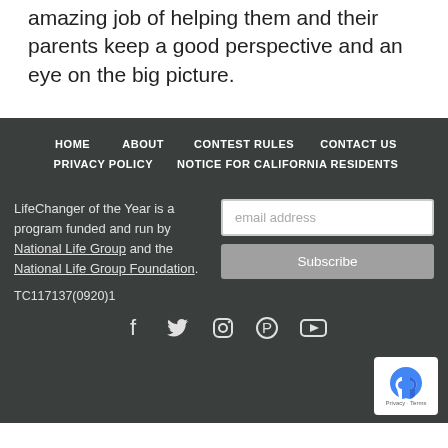amazing job of helping them and their parents keep a good perspective and an eye on the big picture.
HOME  ABOUT  CONTEST RULES  CONTACT US  PRIVACY POLICY  NOTICE FOR CALIFORNIA RESIDENTS
LifeChanger of the Year is a program funded and run by National Life Group and the National Life Group Foundation.
TC117137(0920)1
[Figure (other): Email subscription form with email address input and Subscribe button]
[Figure (other): Social media icons: Facebook, Twitter, Instagram, Pinterest, YouTube]
[Figure (other): Google reCAPTCHA badge with Privacy and Terms links]